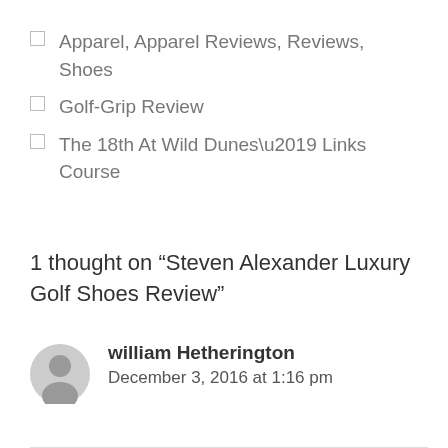Apparel, Apparel Reviews, Reviews, Shoes
Golf-Grip Review
The 18th At Wild Dunes’ Links Course
1 thought on “Steven Alexander Luxury Golf Shoes Review”
william Hetherington
December 3, 2016 at 1:16 pm